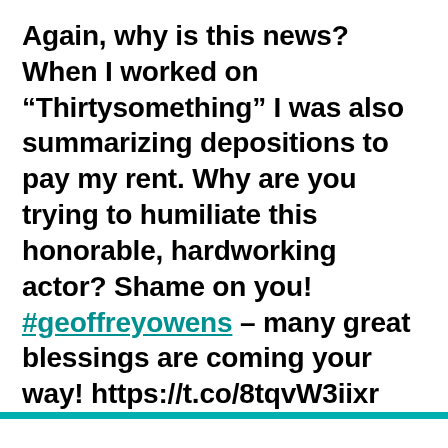Again, why is this news? When I worked on “Thirtysomething” I was also summarizing depositions to pay my rent. Why are you trying to humiliate this honorable, hardworking actor? Shame on you! #geoffreyowens – many great blessings are coming your way! https://t.co/8tqvW3iixr